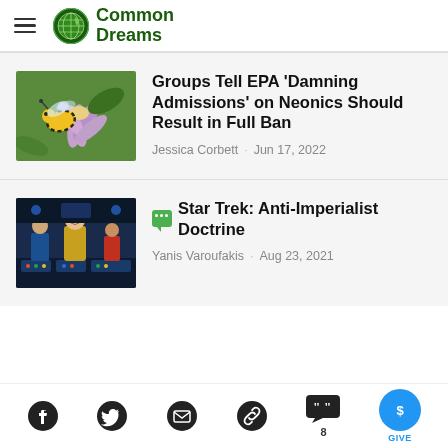Common Dreams
Groups Tell EPA 'Damning Admissions' on Neonics Should Result in Full Ban
Jessica Corbett · Jun 17, 2022
Star Trek: Anti-Imperialist Doctrine
Yanis Varoufakis · Aug 23, 2021
Social share icons: Facebook, Twitter, Email, Link, Comments (8), Give